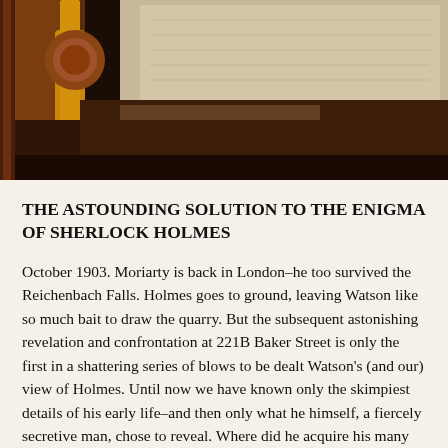[Figure (photo): Close-up photograph of what appears to be a brown wooden object (possibly a pipe or carved wood piece) resting on papers or a map, with warm amber/brown tones and dark shadows.]
THE ASTOUNDING SOLUTION TO THE ENIGMA OF SHERLOCK HOLMES
October 1903. Moriarty is back in London–he too survived the Reichenbach Falls. Holmes goes to ground, leaving Watson like so much bait to draw the quarry. But the subsequent astonishing revelation and confrontation at 221B Baker Street is only the first in a shattering series of blows to be dealt Watson's (and our) view of Holmes. Until now we have known only the skimpiest details of his early life–and then only what he himself, a fiercely secretive man, chose to reveal. Where did he acquire his many different skills? Why did he tell Watson so little about his brother